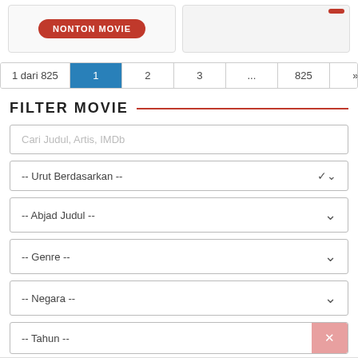[Figure (screenshot): Two movie card panels at top, left card with red NONTON MOVIE button, right card partially visible]
1 dari 825
1  2  3  ...  825  »
FILTER MOVIE
Cari Judul, Artis, IMDb
-- Urut Berdasarkan --
-- Abjad Judul --
-- Genre --
-- Negara --
-- Tahun --
CLOSE
[Figure (screenshot): Two advertisement banners at bottom: left RUSIA 777 MINIMAL WITHDRAW, right 388hero SITUS JUDI SLOT ONLINE TERBESAR DAN TERPERCAYA]